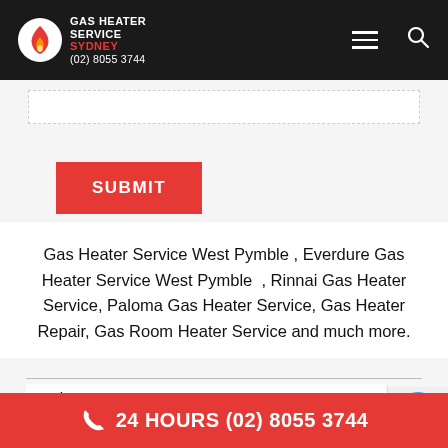GAS HEATER SERVICE SYDNEY (02) 8055 3744
[Figure (screenshot): Input text field (dashed border)]
[Figure (screenshot): Red SUBMIT button]
Gas Heater Service West Pymble , Everdure Gas Heater Service West Pymble , Rinnai Gas Heater Service, Paloma Gas Heater Service, Gas Heater Repair, Gas Room Heater Service and much more.
Read More
24 HOURS (02) 8055 3744